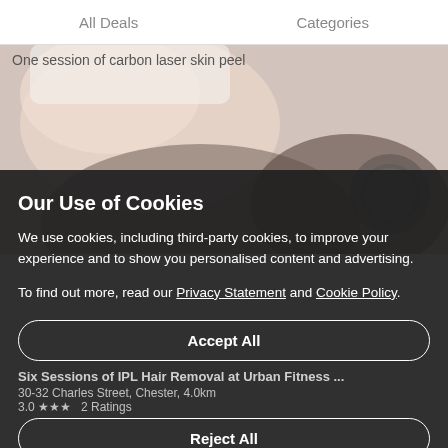All Deals    Categories
One session of carbon laser skin peel
[Figure (photo): Partial view of a person's shoulder/arm area in a white top, used as background for a deals/beauty service listing page.]
Our Use of Cookies
We use cookies, including third-party cookies, to improve your experience and to show you personalised content and advertising.
To find out more, read our Privacy Statement and Cookie Policy.
Accept All
Six Sessions of IPL Hair Removal at Urban Fitness... 30-32 Charles Street, Chester, 4.0km
3.0 ★★★ 2 Ratings
Reject All
from £39.00
My Options
Six Sessions of IPL Hair Removal on two Small...